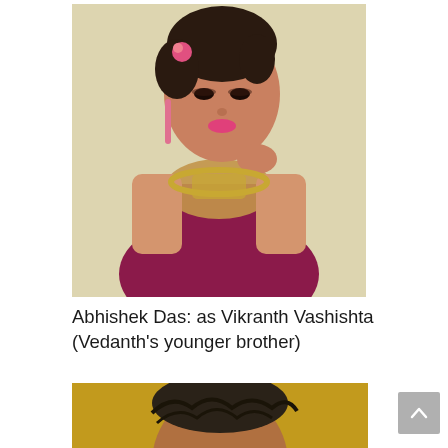[Figure (photo): A woman wearing a magenta/maroon sleeveless traditional Indian outfit with ornate gold necklace and pink earrings, hair styled up with a flower, posing against a light beige background.]
Abhishek Das: as Vikranth Vashishta (Vedanth's younger brother)
[Figure (photo): A man with dark wavy hair visible from chin up, photographed against a yellow/golden blurred background.]